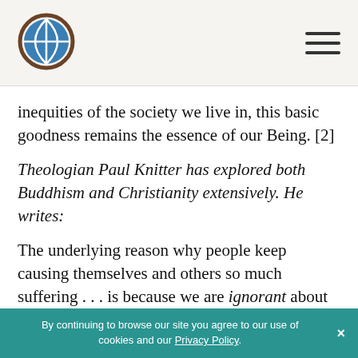[Logo] [Navigation hamburger menu]
inequities of the society we live in, this basic goodness remains the essence of our Being. [2]
Theologian Paul Knitter has explored both Buddhism and Christianity extensively. He writes:
The underlying reason why people keep causing themselves and others so much suffering . . . is because we are ignorant about who and what we really are. Our problem is not an inherent sinfulness but an inherited ignorance. . . . But—and here is the really good news—if ignorance is our fundamental
By continuing to browse our site you agree to our use of cookies and our Privacy Policy. ×